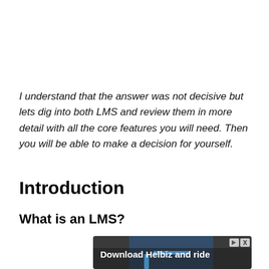I understand that the answer was not decisive but lets dig into both LMS and review them in more detail with all the core features you will need.  Then you will be able to make a decision for yourself.
Introduction
What is an LMS?
[Figure (photo): Advertisement banner: 'Download Helbiz and ride' with a photo of a scooter handlebar in the background, and playback/close controls in the top right corner.]